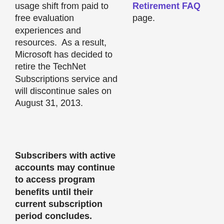usage shift from paid to free evaluation experiences and resources.  As a result, Microsoft has decided to retire the TechNet Subscriptions service and will discontinue sales on August 31, 2013.
Retirement FAQ page.
Subscribers with active accounts may continue to access program benefits until their current subscription period concludes.